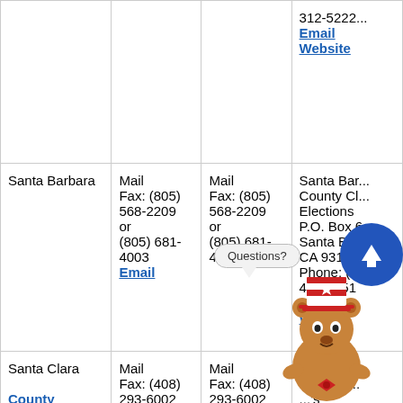| County | Mail/Fax (Registration) | Mail/Fax (Ballot) | Address/Contact |
| --- | --- | --- | --- |
|  |  |  | 312-5222...
Email
Website |
| Santa Barbara | Mail
Fax: (805) 568-2209
or
(805) 681-4003
Email | Mail
Fax: (805) 568-2209
or
(805) 681-4003 | Santa Barbara County Clerk Elections
P.O. Box 6...
Santa Barbara
CA 93160-...
Phone: (8...) 421-0251
Email
Website |
| Santa Clara

County Voter Information | Mail
Fax: (408) 293-6002
Email | Mail
Fax: (408) 293-6002 | ...Clara
...strar of ...
...s
Berg...
Drive, Buil... |
[Figure (illustration): Cartoon bear mascot in patriotic hat with speech bubble saying 'Questions?' and a blue circular arrow-up button]